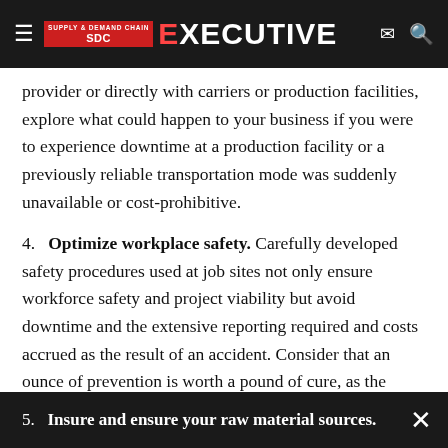Supply & Demand Chain Executive
provider or directly with carriers or production facilities, explore what could happen to your business if you were to experience downtime at a production facility or a previously reliable transportation mode was suddenly unavailable or cost-prohibitive.
4. Optimize workplace safety. Carefully developed safety procedures used at job sites not only ensure workforce safety and project viability but avoid downtime and the extensive reporting required and costs accrued as the result of an accident. Consider that an ounce of prevention is worth a pound of cure, as the saying goes.
5. Insure and ensure your raw material sources. Your healthy supply chain includes addressing the challe...